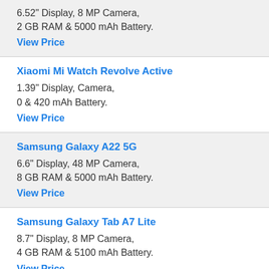6.52" Display, 8 MP Camera,
2 GB RAM & 5000 mAh Battery.
View Price
Xiaomi Mi Watch Revolve Active
1.39" Display, Camera,
0 & 420 mAh Battery.
View Price
Samsung Galaxy A22 5G
6.6" Display, 48 MP Camera,
8 GB RAM & 5000 mAh Battery.
View Price
Samsung Galaxy Tab A7 Lite
8.7" Display, 8 MP Camera,
4 GB RAM & 5100 mAh Battery.
View Price